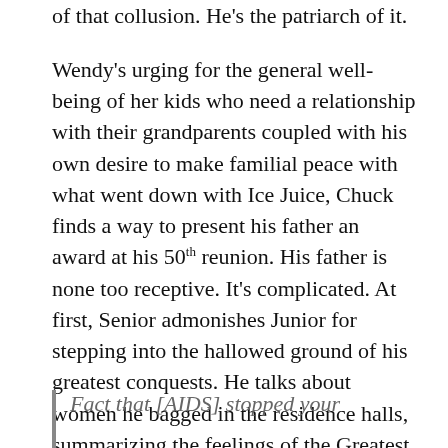of that collusion. He's the patriarch of it.
Wendy's urging for the general well-being of her kids who need a relationship with their grandparents coupled with his own desire to make familial peace with what went down with Ice Juice, Chuck finds a way to present his father an award at his 50th reunion. His father is none too receptive. It's complicated. At first, Senior admonishes Junior for stepping into the hallowed ground of his greatest conquests. He talks about women he bagged in the residence halls, summarizing the feelings of the Greatest Generation towards their GenX progeny.
Fact that [AIDS] stopped your